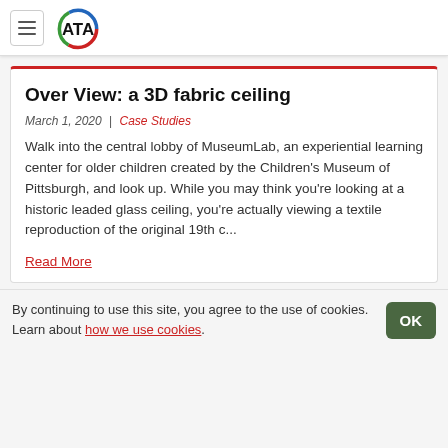ATA (logo)
Over View: a 3D fabric ceiling
March 1, 2020  |  Case Studies
Walk into the central lobby of MuseumLab, an experiential learning center for older children created by the Children's Museum of Pittsburgh, and look up. While you may think you're looking at a historic leaded glass ceiling, you're actually viewing a textile reproduction of the original 19th c...
Read More
By continuing to use this site, you agree to the use of cookies. Learn about how we use cookies.